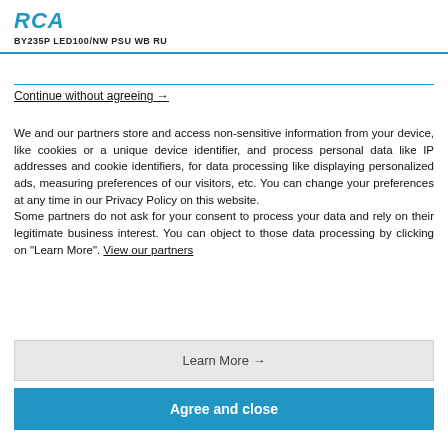RCA
BY235P LED100/NW PSU WB RU
Continue without agreeing →
We and our partners store and access non-sensitive information from your device, like cookies or a unique device identifier, and process personal data like IP addresses and cookie identifiers, for data processing like displaying personalized ads, measuring preferences of our visitors, etc. You can change your preferences at any time in our Privacy Policy on this website.
Some partners do not ask for your consent to process your data and rely on their legitimate business interest. You can object to those data processing by clicking on "Learn More". View our partners
Learn More →
Agree and close